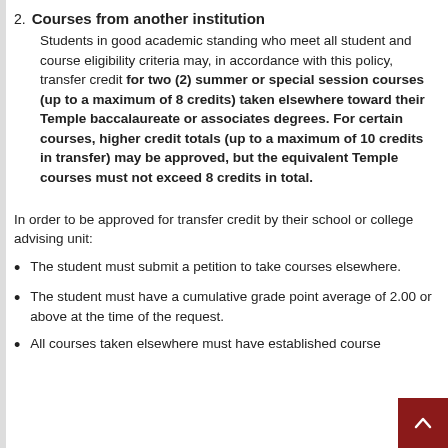2. Courses from another institution
Students in good academic standing who meet all student and course eligibility criteria may, in accordance with this policy, transfer credit for two (2) summer or special session courses (up to a maximum of 8 credits) taken elsewhere toward their Temple baccalaureate or associates degrees. For certain courses, higher credit totals (up to a maximum of 10 credits in transfer) may be approved, but the equivalent Temple courses must not exceed 8 credits in total.
In order to be approved for transfer credit by their school or college advising unit:
The student must submit a petition to take courses elsewhere.
The student must have a cumulative grade point average of 2.00 or above at the time of the request.
All courses taken elsewhere must have established course